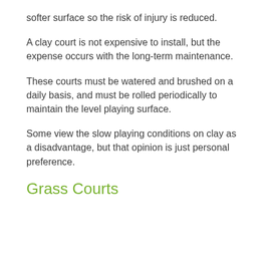softer surface so the risk of injury is reduced.
A clay court is not expensive to install, but the expense occurs with the long-term maintenance.
These courts must be watered and brushed on a daily basis, and must be rolled periodically to maintain the level playing surface.
Some view the slow playing conditions on clay as a disadvantage, but that opinion is just personal preference.
Grass Courts